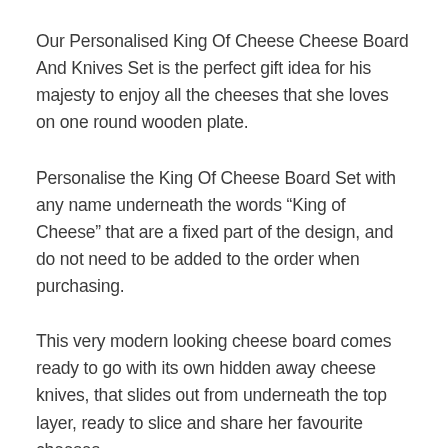Our Personalised King Of Cheese Cheese Board And Knives Set is the perfect gift idea for his majesty to enjoy all the cheeses that she loves on one round wooden plate.
Personalise the King Of Cheese Board Set with any name underneath the words "King of Cheese" that are a fixed part of the design, and do not need to be added to the order when purchasing.
This very modern looking cheese board comes ready to go with its own hidden away cheese knives, that slides out from underneath the top layer, ready to slice and share her favourite cheeses.
Made from Hevea Rubberwood